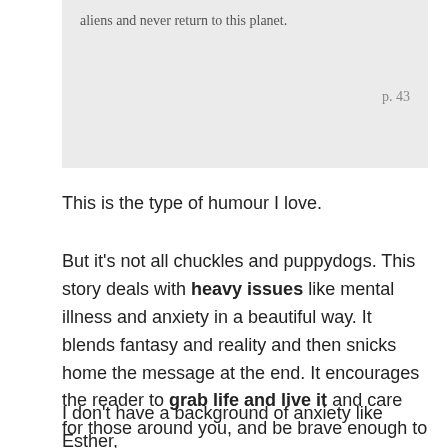aliens and never return to this planet.

p. 43
This is the type of humour I love.
But it's not all chuckles and puppydogs. This story deals with heavy issues like mental illness and anxiety in a beautiful way. It blends fantasy and reality and then snicks home the message at the end. It encourages the reader to grab life and live it and care for those around you, and be brave enough to be who you really are. To love who you are.
I don't have a background of anxiety like Esther,